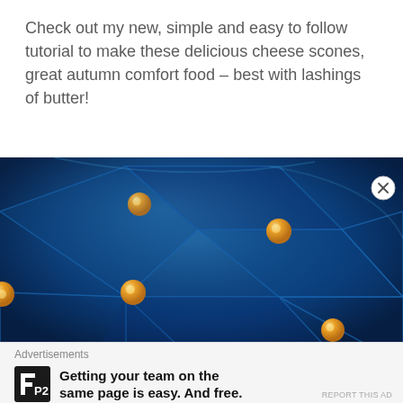Check out my new, simple and easy to follow tutorial to make these delicious cheese scones, great autumn comfort food – best with lashings of butter!
[Figure (photo): Close-up photo of blue tufted leather upholstery with diamond pattern and orange buttons/studs at each intersection]
Advertisements
[Figure (logo): P2 logo — black square with white H-like icon and 'P2' text]
Getting your team on the same page is easy. And free.